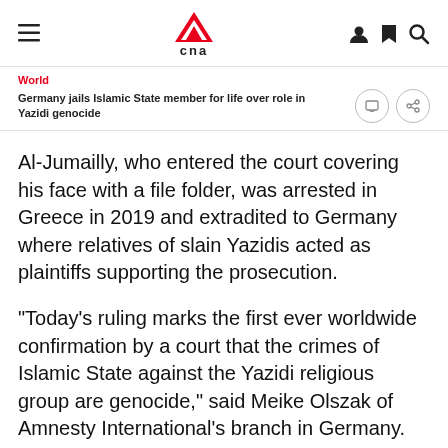CNA
World
Germany jails Islamic State member for life over role in Yazidi genocide
Al-Jumailly, who entered the court covering his face with a file folder, was arrested in Greece in 2019 and extradited to Germany where relatives of slain Yazidis acted as plaintiffs supporting the prosecution.
"Today's ruling marks the first ever worldwide confirmation by a court that the crimes of Islamic State against the Yazidi religious group are genocide," said Meike Olszak of Amnesty International's branch in Germany.
The defendant's German wife, identified only as Jennifer W, was used as a prosecution witness at his trial. She was sentenced to 10 years in prison by a Munich court last year.